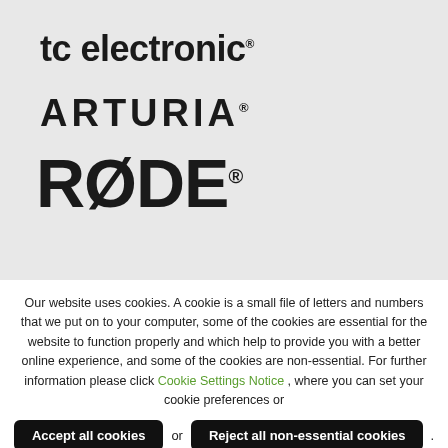[Figure (logo): TC Electronic logo in bold dark text on light grey background]
[Figure (logo): ARTURIA logo in bold uppercase dark text with registered trademark symbol on light grey background]
[Figure (logo): RØDE logo in large bold dark text with registered trademark symbol on light grey background]
Our website uses cookies. A cookie is a small file of letters and numbers that we put on to your computer, some of the cookies are essential for the website to function properly and which help to provide you with a better online experience, and some of the cookies are non-essential. For further information please click Cookie Settings Notice , where you can set your cookie preferences or
Accept all cookies or Reject all non-essential cookies .